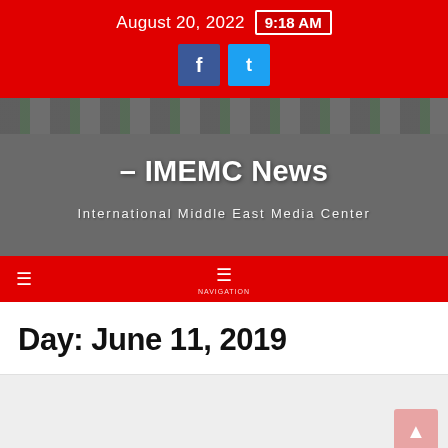August 20, 2022  9:18 AM
[Figure (screenshot): Social media icon buttons: Facebook (dark blue) and Twitter (light blue)]
– IMEMC News
International Middle East Media Center
Day: June 11, 2019